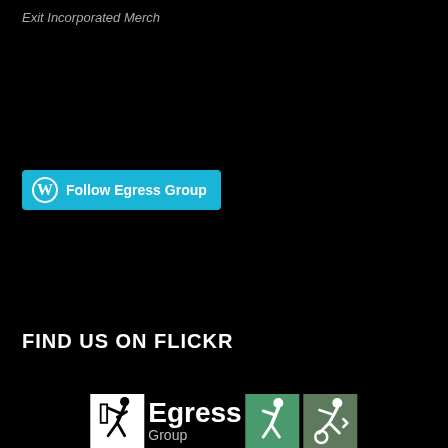Exit Incorporated Merch
[Figure (logo): WordPress Follow button with cyan background and WordPress icon, labeled 'Follow Egress Group']
FIND US ON FLICKR
[Figure (logo): Egress Group logo at bottom of page with white running man icon, 'Egress Group' text in white, and two small green exit sign icons]